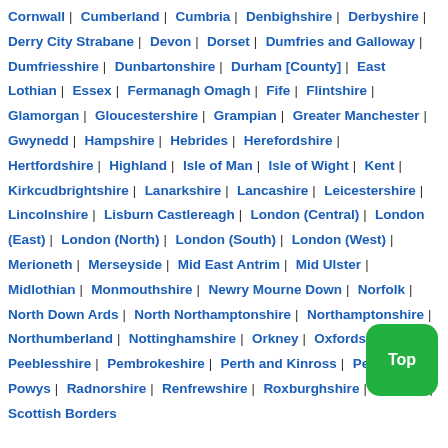Cornwall | Cumberland | Cumbria | Denbighshire | Derbyshire | Derry City Strabane | Devon | Dorset | Dumfries and Galloway | Dumfriesshire | Dunbartonshire | Durham [County] | East Lothian | Essex | Fermanagh Omagh | Fife | Flintshire | Glamorgan | Gloucestershire | Grampian | Greater Manchester | Gwynedd | Hampshire | Hebrides | Herefordshire | Hertfordshire | Highland | Isle of Man | Isle of Wight | Kent | Kirkcudbrightshire | Lanarkshire | Lancashire | Leicestershire | Lincolnshire | Lisburn Castlereagh | London (Central) | London (East) | London (North) | London (South) | London (West) | Merioneth | Merseyside | Mid East Antrim | Mid Ulster | Midlothian | Monmouthshire | Newry Mourne Down | Norfolk | North Down Ards | North Northamptonshire | Northamptonshire | Northumberland | Nottinghamshire | Orkney | Oxfordshire | Peeblesshire | Pembrokeshire | Perth and Kinross | Perthshire | Powys | Radnorshire | Renfrewshire | Roxburghshire | Rutland | Scottish Borders